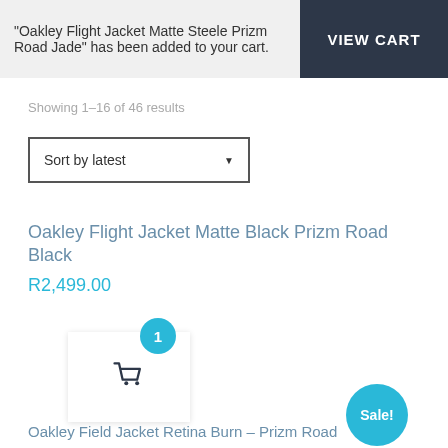"Oakley Flight Jacket Matte Steele Prizm Road Jade" has been added to your cart.
VIEW CART
Showing 1–16 of 46 results
Sort by latest
Oakley Flight Jacket Matte Black Prizm Road Black
R2,499.00
1
Sale!
Oakley Field Jacket Retina Burn – Prizm Road